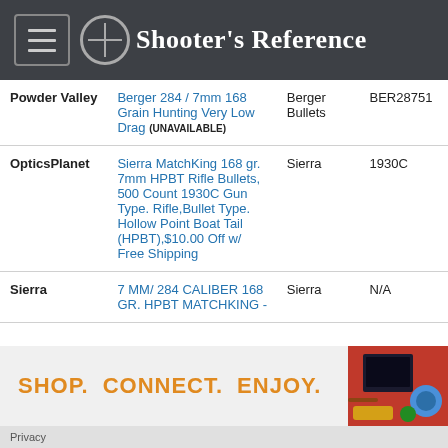Shooter's Reference
| Store | Product | Brand | SKU |
| --- | --- | --- | --- |
| Powder Valley | Berger 284 / 7mm 168 Grain Hunting Very Low Drag (UNAVAILABLE) | Berger Bullets | BER28751 |
| OpticsPlanet | Sierra MatchKing 168 gr. 7mm HPBT Rifle Bullets, 500 Count 1930C Gun Type. Rifle,Bullet Type. Hollow Point Boat Tail (HPBT),$10.00 Off w/ Free Shipping | Sierra | 1930C |
| Sierra | 7 MM/ 284 CALIBER 168 GR. HPBT MATCHKING - | Sierra | N/A |
SHOP.  CONNECT.  ENJOY.
Privacy